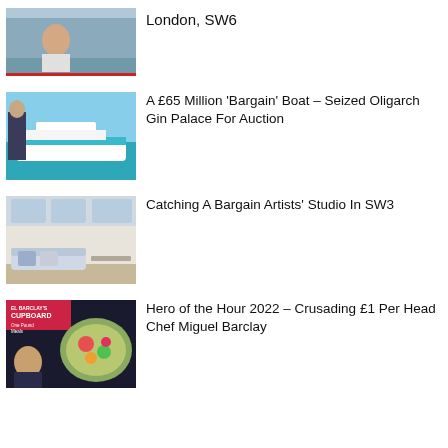[Figure (photo): Missing person photo with red banner at bottom]
London, SW6
[Figure (photo): Oligarch yacht on blue water with man in suit]
A £65 Million ‘Bargain’ Boat – Seized Oligarch Gin Palace For Auction
[Figure (photo): Artist studio interior with white walls and sofa]
Catching A Bargain Artists’ Studio In SW3
[Figure (photo): El Barclay's Cupboard cookbook cover with chef and food dish]
Hero of the Hour 2022 – Crusading £1 Per Head Chef Miguel Barclay